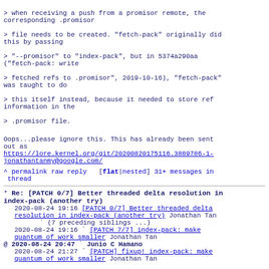> when receiving a push from a promisor remote, the corresponding .promisor
> file needs to be created. "fetch-pack" originally did this by passing
> "--promisor" to "index-pack", but in 5374a290aa ("fetch-pack: write
> fetched refs to .promisor", 2019-10-16), "fetch-pack" was taught to do
> this itself instead, because it needed to store ref information in the
> .promisor file.
Oops...please ignore this. This has already been sent out as
https://lore.kernel.org/git/20200820175116.3889786-1-jonathantanmy@google.com/
^ permalink raw reply   [flat|nested] 31+ messages in thread
* Re: [PATCH 0/7] Better threaded delta resolution in index-pack (another try)
  2020-08-24 19:16 [PATCH 0/7] Better threaded delta resolution in index-pack (another try) Jonathan Tan
               ` (7 preceding siblings ...)
  2020-08-24 19:16 ` [PATCH 7/7] index-pack: make quantum of work smaller Jonathan Tan
@ 2020-08-24 20:47 ` Junio C Hamano
  2020-08-24 21:27 ` [PATCH] fixup! index-pack: make quantum of work smaller Jonathan Tan